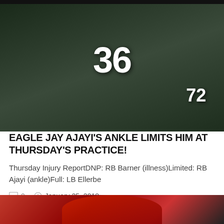[Figure (photo): Philadelphia Eagles player wearing jersey number 36 celebrating, with player number 72 visible in background, dark green Eagles uniforms]
EAGLE JAY AJAYI'S ANKLE LIMITS HIM AT THURSDAY'S PRACTICE!
Thursday Injury ReportDNP: RB Barner (illness)Limited: RB Ajayi (ankle)Full: LB Ellerbe
0   January 25, 2018
[Figure (photo): Partial view of a football player wearing a red helmet, bottom strip of image]